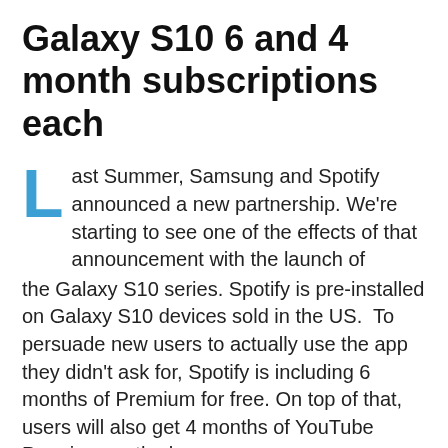Galaxy S10 6 and 4 month subscriptions each
Last Summer, Samsung and Spotify announced a new partnership. We're starting to see one of the effects of that announcement with the launch of the Galaxy S10 series. Spotify is pre-installed on Galaxy S10 devices sold in the US.  To persuade new users to actually use the app they didn't ask for, Spotify is including 6 months of Premium for free. On top of that, users will also get 4 months of YouTube Premium on the house.
The Spotify offers has quite a lot of fine print, so you may not automatically be eligible. First, the Galaxy S10, Galaxy S10+, or Galaxy S10e must be purchased in the US. You must be new to Spotify Premium. That means if you've ever paid for Premium or you claimed a free trial offer in